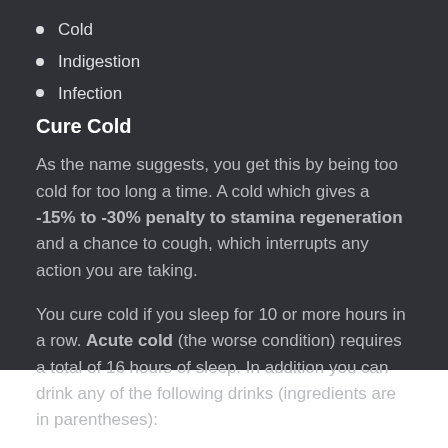Cold
Indigestion
Infection
Cure Cold
As the name suggests, you get this by being too cold for too long a time. A cold which gives a -15% to -30% penalty to stamina regeneration and a chance to cough, which interrupts any action you are taking.
You cure cold if you sleep for 10 or more hours in a row. Acute cold (the worse condition) requires a total of 16 hours of sleep. In addition you can drink any of the following drinks (ingredients are in parentheses):